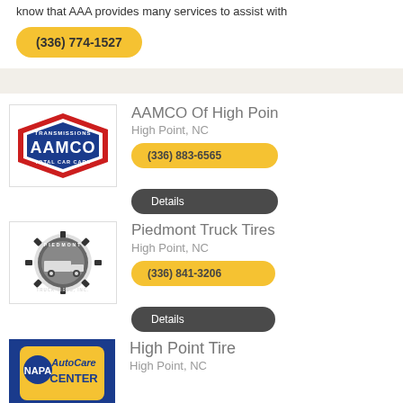know that AAA provides many services to assist with
(336) 774-1527
AAMCO Of High Point
High Point, NC
(336) 883-6565
Details
Piedmont Truck Tires
High Point, NC
(336) 841-3206
Details
High Point Tire
High Point, NC
[Figure (logo): AAMCO Transmissions Total Car Care logo - red shield shape with blue and white text]
[Figure (logo): Piedmont Truck Tires Inc logo - black gear/cog shape with truck illustration]
[Figure (logo): NAPA AutoCare Center logo - blue background with yellow and white text]